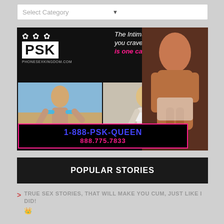Select Category
[Figure (illustration): PSK Phone Sex Kingdom advertisement banner with models and phone number 1-888-PSK-QUEEN / 888.775.7833]
POPULAR STORIES
TRUE SEX STORIES, THAT WILL MAKE YOU CUM, JUST LIKE I DID! 👑